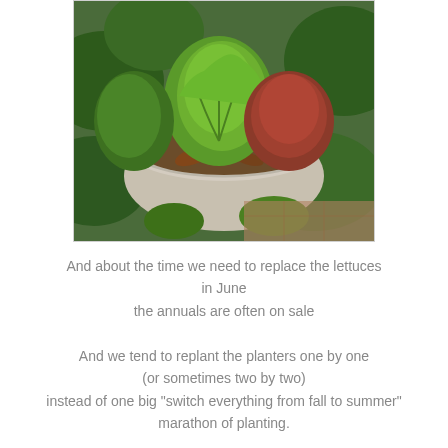[Figure (photo): Overhead view of a white/grey stone or concrete planter pot filled with various green and reddish lettuce plants, surrounded by other leafy plants in a garden setting.]
And about the time we need to replace the lettuces in June the annuals are often on sale
And we tend to replant the planters one by one (or sometimes two by two) instead of one big "switch everything from fall to summer" marathon of planting.